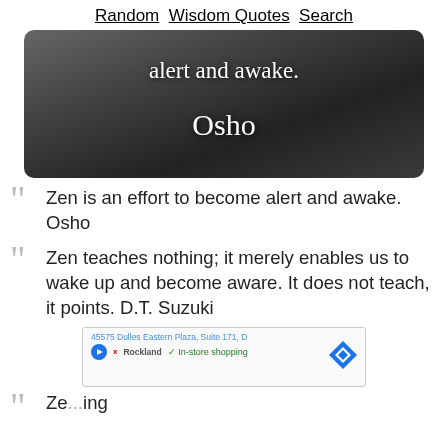Random   Wisdom Quotes   Search
[Figure (photo): Dark grayscale beach/landscape background image with white handwritten-style text reading 'alert and awake.' and 'Osho']
“Zen is an effort to become alert and awake. Osho
“Zen teaches nothing; it merely enables us to wake up and become aware. It does not teach, it points. D.T. Suzuki
[Figure (other): Advertisement banner showing address '45575 Dulles Eastern Plaza, Suite 171, D', a play button icon, Rockland logo, checkmark with 'In-store shopping', and navigation/directions icon]
“Ze... ing